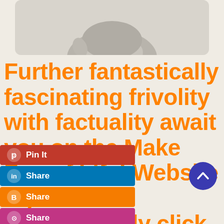[Figure (photo): Black and white photo of baby hands/feet cropped at top of page]
Further fantastically fascinating frivolity with factuality await you on the Make Fun of Life! Website if you will courageously click or tap on any of the blinking images or
[Figure (infographic): Social sharing sidebar with buttons: Pin It (Pinterest), Share (LinkedIn), Share (Blogger), Share (Instagram), Goodreads, Tumblr, More]
[Figure (other): Blue circular scroll-to-top button with upward chevron arrow]